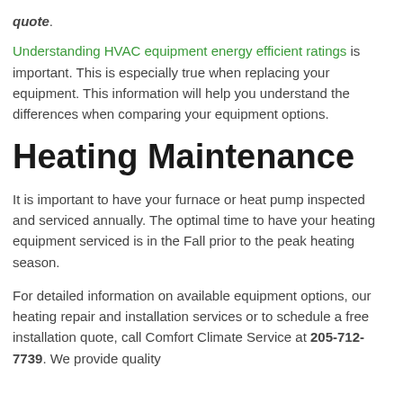quote.
Understanding HVAC equipment energy efficient ratings is important.  This is especially true when replacing your equipment. This information will help you understand the differences when comparing your equipment options.
Heating Maintenance
It is important to have your furnace or heat pump inspected and serviced annually.  The optimal time to have your heating equipment serviced is in the Fall prior to the peak heating season.
For detailed information on available equipment options, our heating repair and installation services or to schedule a free installation quote, call Comfort Climate Service at 205-712-7739.  We provide quality